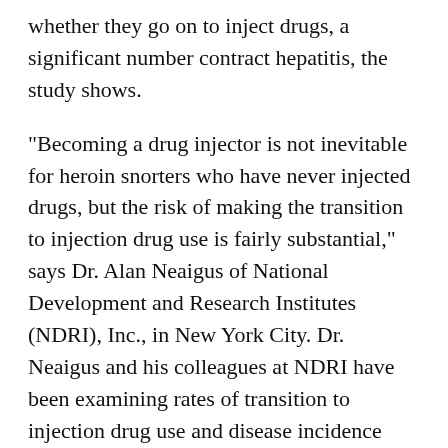whether they go on to inject drugs, a significant number contract hepatitis, the study shows.
"Becoming a drug injector is not inevitable for heroin snorters who have never injected drugs, but the risk of making the transition to injection drug use is fairly substantial," says Dr. Alan Neaigus of National Development and Research Institutes (NDRI), Inc., in New York City. Dr. Neaigus and his colleagues at NDRI have been examining rates of transition to injection drug use and disease incidence among 560 NIUs recruited from March 1996 through April 1998. The study group consists of heroin users who have never injected drugs and former heroin injectors who had not injected drugs for at least 6 months prior to the study. Data from followup interviews conducted with 331 study